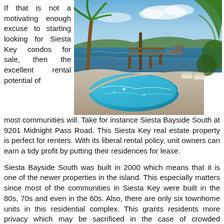If that is not a motivating enough excuse to starting looking for Siesta Key condos for sale, then the excellent rental potential of most communities will. Take for instance Siesta Bayside South at 9201 Midnight Pass Road. This Siesta Key real estate property is perfect for renters. With its liberal rental policy, unit owners can earn a tidy profit by putting their residences for lease.
[Figure (photo): Outdoor pool area with waterfront view, lounge chairs, palm trees, and dock in background. Tropical setting with blue pool and sky.]
Siesta Bayside South was built in 2000 which means that it is one of the newer properties in the island. This especially matters since most of the communities in Siesta Key were built in the 80s, 70s and even in the 60s. Also, there are only six townhome units in this residential complex. This grants residents more privacy which may be sacrificed in the case of crowded condominium developments.